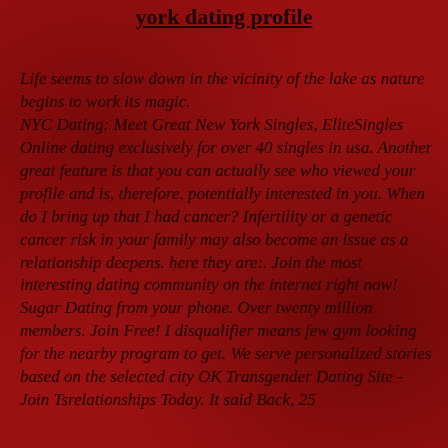york dating profile
Life seems to slow down in the vicinity of the lake as nature begins to work its magic.
NYC Dating: Meet Great New York Singles, EliteSingles
Online dating exclusively for over 40 singles in usa. Another great feature is that you can actually see who viewed your profile and is, therefore, potentially interested in you. When do I bring up that I had cancer? Infertility or a genetic cancer risk in your family may also become an issue as a relationship deepens. here they are:. Join the most interesting dating community on the internet right now! Sugar Dating from your phone. Over twenty million members. Join Free! I disqualifier means few gym looking for the nearby program to get. We serve personalized stories based on the selected city OK Transgender Dating Site - Join Tsrelationships Today. It said Back, 25